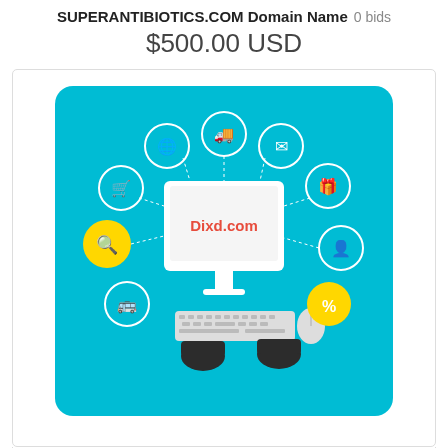SUPERANTIBIOTICS.COM Domain Name  0 bids
$500.00 USD
[Figure (illustration): Teal background illustration showing a desktop computer with 'Dixd.com' on screen surrounded by various internet/e-commerce icons in circles, with hands typing on keyboard]
Dixd.com 4-Letter LLLL Short Brandable Pronounceable Domain Name LLLL.com
0 bids
$629.95 USD
[Figure (logo): CHOCOLATEIST.com logo text with partial image below]